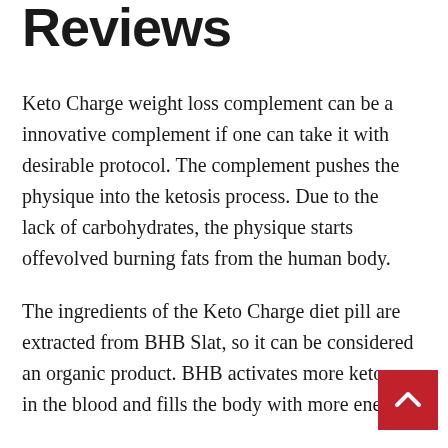Reviews
Keto Charge weight loss complement can be a innovative complement if one can take it with desirable protocol. The complement pushes the physique into the ketosis process. Due to the lack of carbohydrates, the physique starts offevolved burning fats from the human body.
The ingredients of the Keto Charge diet pill are extracted from BHB Slat, so it can be considered an organic product. BHB activates more ketones in the blood and fills the body with more energy.
Keto Charge formula speeds up the ketosis process and shows results in less time. Apart from that, have shared more health benefits you can get in this